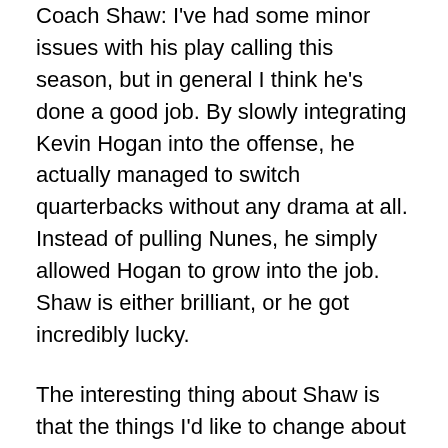Coach Shaw: I've had some minor issues with his play calling this season, but in general I think he's done a good job. By slowly integrating Kevin Hogan into the offense, he actually managed to switch quarterbacks without any drama at all. Instead of pulling Nunes, he simply allowed Hogan to grow into the job. Shaw is either brilliant, or he got incredibly lucky.
The interesting thing about Shaw is that the things I'd like to change about him are things that I know will never ever change. I'd love it if he could be more forthcoming about injuries. I'd like to see him go for it on fourth down -- a lot. Now that Hogan is the starter, I'd like him to ditch the wildcat. But even though these things aren't going to change, I still believe David Shaw is the best man for this job.
Scott Allen, Rule of Tree: My opinion of Shaw, which